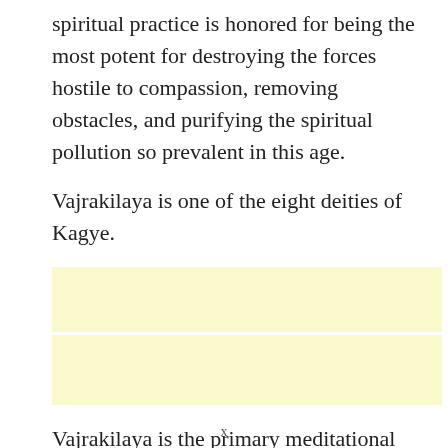spiritual practice is honored for being the most potent for destroying the forces hostile to compassion, removing obstacles, and purifying the spiritual pollution so prevalent in this age.
Vajrakilaya is one of the eight deities of Kagye.
[Figure (other): Yellow highlighted box, split into two sections by a thin white horizontal line, representing an image or highlighted content area.]
Vajrakilaya is the primary meditational deity of the Nyingma tradition (the oldest of the four major schools of Tibetan Buddhism) of Vajrayana Buddhism, and the spiritual practice undertaken and
x